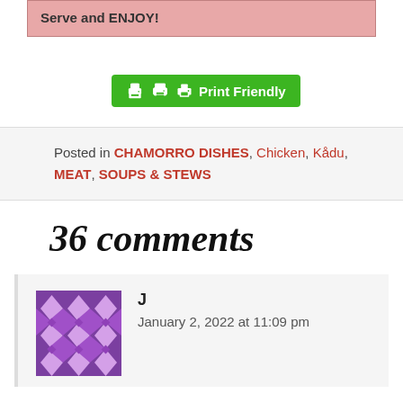Serve and ENJOY!
[Figure (other): Green Print Friendly button with printer icon]
Posted in CHAMORRO DISHES, Chicken, Kådu, MEAT, SOUPS & STEWS
36 comments
[Figure (other): Purple geometric avatar icon for commenter J]
J
January 2, 2022 at 11:09 pm